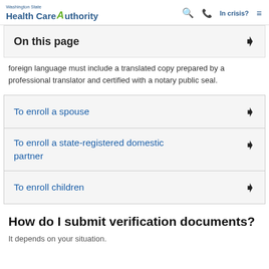Washington State Health Care Authority | In crisis?
On this page
foreign language must include a translated copy prepared by a professional translator and certified with a notary public seal.
To enroll a spouse
To enroll a state-registered domestic partner
To enroll children
How do I submit verification documents?
It depends on your situation.